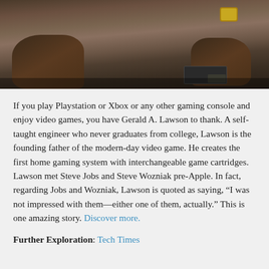[Figure (photo): Black and white/sepia photo showing hands of a person near what appears to be electronic equipment, with a gold watch visible on one wrist.]
If you play Playstation or Xbox or any other gaming console and enjoy video games, you have Gerald A. Lawson to thank. A self-taught engineer who never graduates from college, Lawson is the founding father of the modern-day video game. He creates the first home gaming system with interchangeable game cartridges.  Lawson met Steve Jobs and Steve Wozniak pre-Apple. In fact, regarding Jobs and Wozniak, Lawson is quoted as saying, “I was not impressed with them—either one of them, actually.” This is one amazing story. Discover more.
Further Exploration: Tech Times